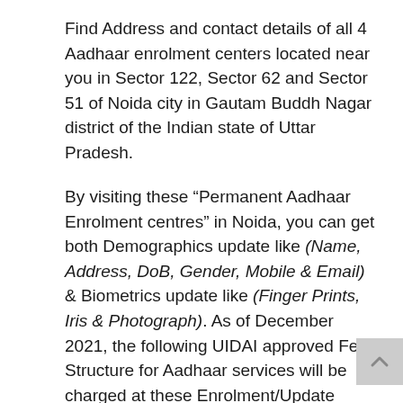Find Address and contact details of all 4 Aadhaar enrolment centers located near you in Sector 122, Sector 62 and Sector 51 of Noida city in Gautam Buddh Nagar district of the Indian state of Uttar Pradesh.
By visiting these “Permanent Aadhaar Enrolment centres” in Noida, you can get both Demographics update like (Name, Address, DoB, Gender, Mobile & Email) & Biometrics update like (Finger Prints, Iris & Photograph). As of December 2021, the following UIDAI approved Fee Structure for Aadhaar services will be charged at these Enrolment/Update centers:
Read more